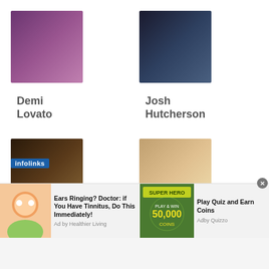[Figure (photo): Headshot of Demi Lovato with purple hair]
Demi Lovato
[Figure (photo): Headshot of Josh Hutcherson in suit]
Josh Hutcherson
[Figure (photo): Headshot of Jared Leto with long hair and bow tie]
Jared Leto
[Figure (photo): Headshot of Hayden Panettiere smiling]
Hayden Panettiere
[Figure (photo): Partial photo of a blonde woman with infolinks overlay]
[Figure (photo): Partial photo of a woman]
[Figure (screenshot): Ad banner: Ears Ringing? Doctor: if You Have Tinnitus, Do This Immediately! Ad by Healthier Living]
[Figure (screenshot): Ad banner: Play Quiz and Earn Coins, Ad by Quizzo, Super Hero theme with 50,000 coins]